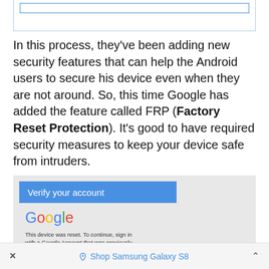[Figure (screenshot): Partial screenshot of a browser/app interface showing a text input box with blue border at top of page]
In this process, they've been adding new security features that can help the Android users to secure his device even when they are not around. So, this time Google has added the feature called FRP (Factory Reset Protection). It's good to have required security measures to keep your device safe from intruders.
[Figure (screenshot): Screenshot of Android phone screen showing 'Verify your account' blue banner, Google logo, and text 'This device was reset. To continue, sign in with a Google Account that was previously...']
× Shop Samsung Galaxy S8 ^